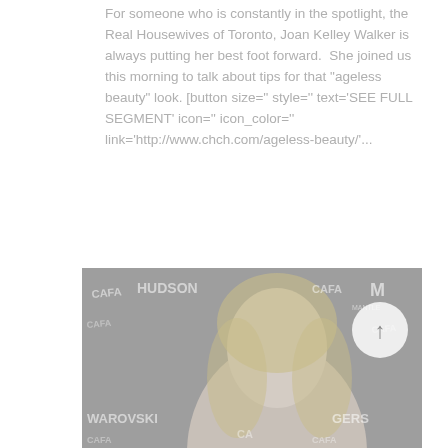For someone who is constantly in the spotlight, the Real Housewives of Toronto, Joan Kelley Walker is always putting her best foot forward.  She joined us this morning to talk about tips for that "ageless beauty" look. [button size='' style='' text='SEE FULL SEGMENT' icon='' icon_color='' link='http://www.chch.com/ageless-beauty/'...
[Figure (photo): Grayscale photo of a blonde woman (Joan Kelley Walker) at an event with branded backdrop showing HUDSON, CAFA, WAROVSKI, ROGERS, MANTL logos. A circular arrow/back-to-top button is overlaid in the top-right corner of the image.]